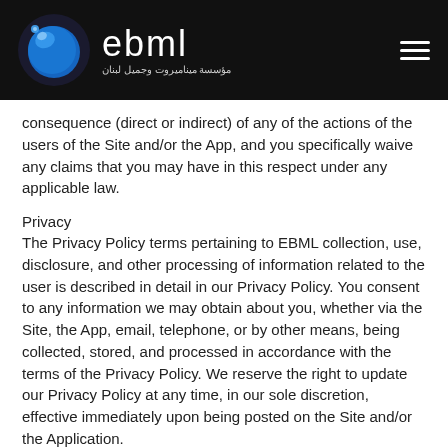ebml (مؤسسة ميناميروت وجميل لبنان)
consequence (direct or indirect) of any of the actions of the users of the Site and/or the App, and you specifically waive any claims that you may have in this respect under any applicable law.
Privacy
The Privacy Policy terms pertaining to EBML collection, use, disclosure, and other processing of information related to the user is described in detail in our Privacy Policy. You consent to any information we may obtain about you, whether via the Site, the App, email, telephone, or by other means, being collected, stored, and processed in accordance with the terms of the Privacy Policy. We reserve the right to update our Privacy Policy at any time, in our sole discretion, effective immediately upon being posted on the Site and/or the Application.
To review in detail our privacy policy press the link below
ebml Privacy Policy
Withdrawal of Access and/or Membership